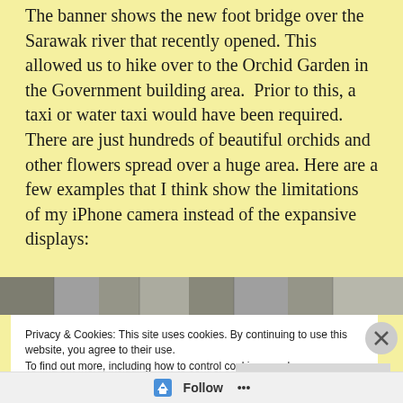The banner shows the new foot bridge over the Sarawak river that recently opened. This allowed us to hike over to the Orchid Garden in the Government building area.  Prior to this, a taxi or water taxi would have been required. There are just hundreds of beautiful orchids and other flowers spread over a huge area. Here are a few examples that I think show the limitations of my iPhone camera instead of the expansive displays:
[Figure (photo): A partial photo strip showing what appears to be orchids or flowers, cropped at the bottom of the visible text area.]
Privacy & Cookies: This site uses cookies. By continuing to use this website, you agree to their use.
To find out more, including how to control cookies, see here:
Cookie Policy
Close and accept
Follow ···